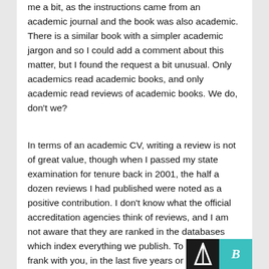me a bit, as the instructions came from an academic journal and the book was also academic. There is a similar book with a simpler academic jargon and so I could add a comment about this matter, but I found the request a bit unusual. Only academics read academic books, and only academic read reviews of academic books. We do, don't we?
In terms of an academic CV, writing a review is not of great value, though when I passed my state examination for tenure back in 2001, the half a dozen reviews I had published were noted as a positive contribution. I don't know what the official accreditation agencies think of reviews, and I am not aware that they are ranked in the databases which index everything we publish. To be perfectly frank with you, in the last five years or so I have been reviewing books not thinking of my CV at all but because I could not afford the volumes in question. The last book I have reviewed costs 99 euros (hardback edition) and even though we are not paid for reviewing, I feel that in this case I have earned those 99 euros (I need to pay for taxes!). So that's another good inc...